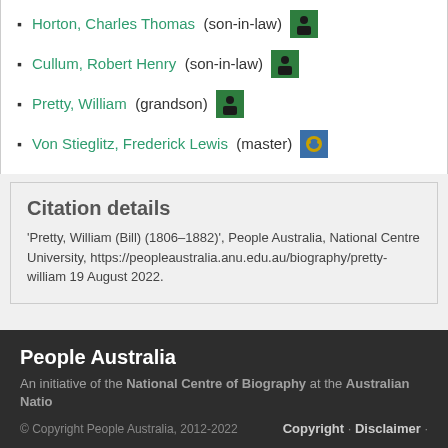Horton, Charles Thomas (son-in-law)
Cullum, Robert Henry (son-in-law)
Pretty, William (grandson)
Von Stieglitz, Frederick Lewis (master)
Citation details
'Pretty, William (Bill) (1806–1882)', People Australia, National Centre University, https://peopleaustralia.anu.edu.au/biography/pretty-william 19 August 2022.
People Australia
An initiative of the National Centre of Biography at the Australian National
© Copyright People Australia, 2012-2022   Copyright · Disclaimer ·